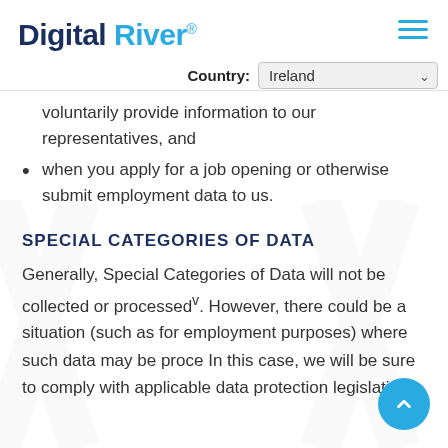Digital River®
Country: Ireland
voluntarily provide information to our representatives, and
when you apply for a job opening or otherwise submit employment data to us.
SPECIAL CATEGORIES OF DATA
Generally, Special Categories of Data will not be collected or processedᵥ. However, there could be a situation (such as for employment purposes) where such data may be proce… In this case, we will be sure to comply with applicable data protection legislation